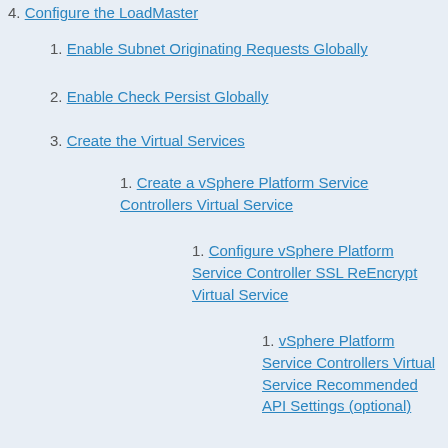4. Configure the LoadMaster
1. Enable Subnet Originating Requests Globally
2. Enable Check Persist Globally
3. Create the Virtual Services
1. Create a vSphere Platform Service Controllers Virtual Service
1. Configure vSphere Platform Service Controller SSL ReEncrypt Virtual Service
1. vSphere Platform Service Controllers Virtual Service Recommended API Settings (optional)
2. vSphere Platform Service Controllers 2012 Virtual Service
1. vSphere Platform Service Controllers 2012 Virtual Service Recommended API Settings (optional)